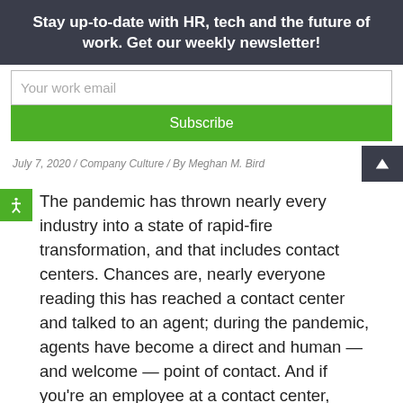Stay up-to-date with HR, tech and the future of work. Get our weekly newsletter!
Your work email
Subscribe
July 7, 2020 / Company Culture / By Meghan M. Bird
The pandemic has thrown nearly every industry into a state of rapid-fire transformation, and that includes contact centers. Chances are, nearly everyone reading this has reached a contact center and talked to an agent; during the pandemic, agents have become a direct and human — and welcome — point of contact. And if you're an employee at a contact center, you're likely experiencing a whole different way of working right now, on the virtual front lines, in some cases, and I have to say this directly: thank you for being there.